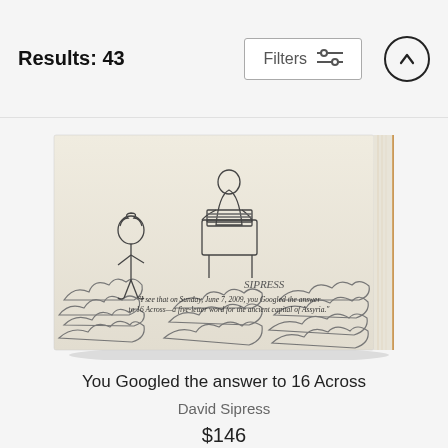Results: 43
[Figure (illustration): A New Yorker-style cartoon printed on a wood panel showing a person standing on clouds before a figure at a desk, with caption: 'I see that on Sunday, June 7, 2009, you Googled the answer to 16 Across—a five-letter word for the ancient capital of Assyria.' Signed SIPRESS.]
You Googled the answer to 16 Across
David Sipress
$146